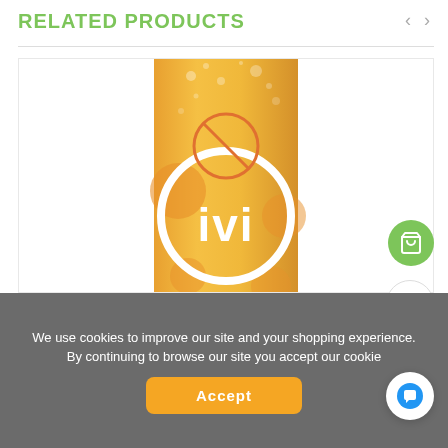RELATED PRODUCTS
[Figure (screenshot): A yellow/orange aluminum beverage can with the brand name 'ivi' displayed in large white letters inside a white circle. The can features a colorful design with bubbles and fruit shapes. There is an orange circle with a diagonal line (like a clock or prohibition symbol) near the top of the label.]
We use cookies to improve our site and your shopping experience. By continuing to browse our site you accept our cookie
Accept